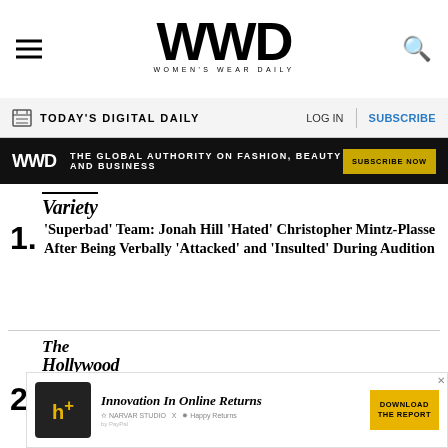WWD WOMEN'S WEAR DAILY
TODAY'S DIGITAL DAILY  LOG IN  SUBSCRIBE
WWD  THE GLOBAL AUTHORITY ON FASHION, BEAUTY AND BUSINESS  SUBSCRIBE NOW
[Figure (logo): Variety magazine logo]
1. 'Superbad' Team: Jonah Hill 'Hated' Christopher Mintz-Plasse After Being Verbally 'Attacked' and 'Insulted' During Audition
[Figure (logo): The Hollywood Reporter logo]
2. Academy Apologizes to Sacheen Littlefeather for Her Mistreatment at the 1973 Oscars (Exclusive)
[Figure (logo): SheKnows logo]
[Figure (infographic): Advertisement: Innovation In Online Returns - Download The Report, featuring h+ box logo with Narvar Studio x Happy Returns branding]